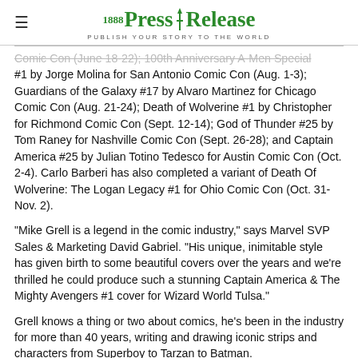1888 PressRelease — PUBLISH YOUR STORY TO THE WORLD
Comic Con (June 19-22); 100th Anniversary A-Men Special #1 by Jorge Molina for San Antonio Comic Con (Aug. 1-3); Guardians of the Galaxy #17 by Alvaro Martinez for Chicago Comic Con (Aug. 21-24); Death of Wolverine #1 by Christopher for Richmond Comic Con (Sept. 12-14); God of Thunder #25 by Tom Raney for Nashville Comic Con (Sept. 26-28); and Captain America #25 by Julian Totino Tedesco for Austin Comic Con (Oct. 2-4). Carlo Barberi has also completed a variant of Death Of Wolverine: The Logan Legacy #1 for Ohio Comic Con (Oct. 31-Nov. 2).
"Mike Grell is a legend in the comic industry," says Marvel SVP Sales & Marketing David Gabriel. "His unique, inimitable style has given birth to some beautiful covers over the years and we're thrilled he could produce such a stunning Captain America & The Mighty Avengers #1 cover for Wizard World Tulsa."
Grell knows a thing or two about comics, he's been in the industry for more than 40 years, writing and drawing iconic strips and characters from Superboy to Tarzan to Batman.